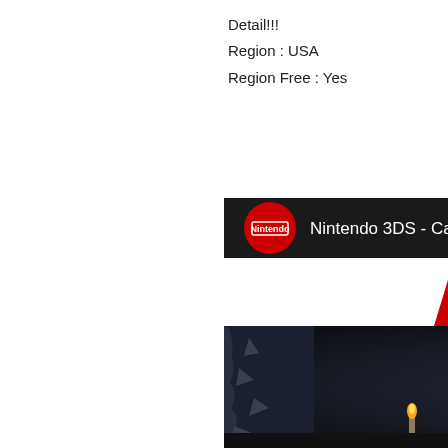Detail!!!
Region : USA
Region Free : Yes
[Figure (screenshot): YouTube video thumbnail for 'Nintendo 3DS - Castlevania: Lo...' showing a dark fantasy game scene with a creature/monster character and a YouTube play button overlay. The top bar shows the Nintendo logo in red circle, video title text. Below is a red diagonal banner with 'Nintendo 3' text. The main image shows a dark gothic game scene with a creature with glowing eyes and raised arms.]